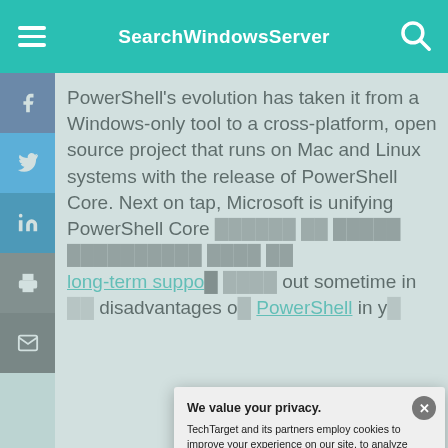SearchWindowsServer
PowerShell's evolution has taken it from a Windows-only tool to a cross-platform, open source project that runs on Mac and Linux systems with the release of PowerShell Core. Next on tap, Microsoft is unifying PowerShell Core and Windows PowerShell with the long-term support out sometime in disadvantages of PowerShell in yo
[Figure (screenshot): Privacy consent dialog overlay. Title: 'We value your privacy.' Body text: 'TechTarget and its partners employ cookies to improve your experience on our site, to analyze traffic and performance, and to serve personalized content and advertising that are relevant to your professional interests. You can manage your settings at any time. Please view our Privacy Policy for more information'. Buttons: OK (teal) and Settings (outlined).]